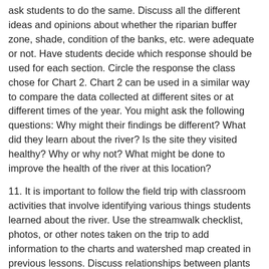ask students to do the same. Discuss all the different ideas and opinions about whether the riparian buffer zone, shade, condition of the banks, etc. were adequate or not. Have students decide which response should be used for each section. Circle the response the class chose for Chart 2. Chart 2 can be used in a similar way to compare the data collected at different sites or at different times of the year. You might ask the following questions: Why might their findings be different? What did they learn about the river? Is the site they visited healthy? Why or why not? What might be done to improve the health of the river at this location?
11. It is important to follow the field trip with classroom activities that involve identifying various things students learned about the river. Use the streamwalk checklist, photos, or other notes taken on the trip to add information to the charts and watershed map created in previous lessons. Discuss relationships between plants and animals and the environment. Find ways to let the community know about the streamwalk and what the class learned about the river.
Video Viewing Activity